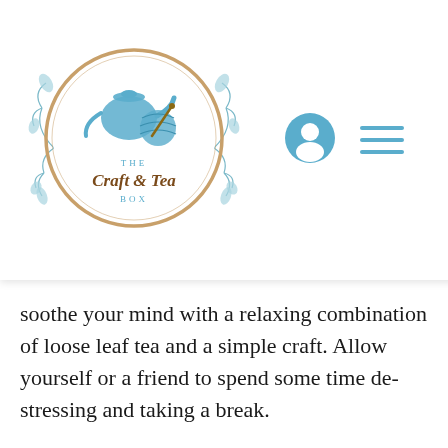[Figure (logo): The Craft & Tea Box logo — circular design with ornate floral branches, a teapot and yarn ball illustration in teal/blue tones, gold/brown ring border, text 'THE Craft & Tea BOX' inside]
er it's on a us on ne
soothe your mind with a relaxing combination of loose leaf tea and a simple craft. Allow yourself or a friend to spend some time de-stressing and taking a break.
The therapeutic benefits of both tea and art are well documented throughout history. With a subscription box allowing you to expand your experience with both, we believe that you will be able to truly find your inner peace. Discover exactly the right blend of tea for your tastes and find the craft that you enjoy the most by